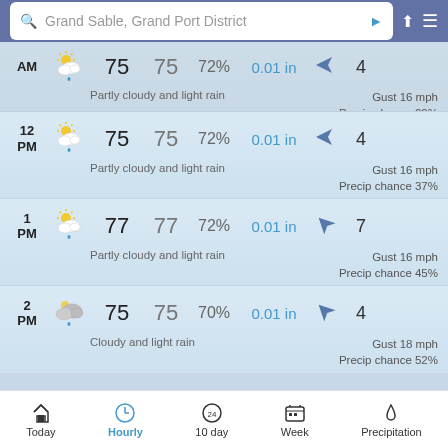Grand Sable, Grand Port District
| Time | Icon | Temp | Dew | Humidity | Precip | Wind Dir | Wind Speed |
| --- | --- | --- | --- | --- | --- | --- | --- |
| AM | Partly cloudy and light rain | 75 | 75 | 72% | 0.01 in | ← | 4 | Gust 16 mph Precip chance 29% |
| 12 PM | Partly cloudy and light rain | 75 | 75 | 72% | 0.01 in | ← | 4 | Gust 16 mph Precip chance 37% |
| 1 PM | Partly cloudy and light rain | 77 | 77 | 72% | 0.01 in | ↖ | 7 | Gust 16 mph Precip chance 45% |
| 2 PM | Cloudy and light rain | 75 | 75 | 70% | 0.01 in | ↖ | 4 | Gust 18 mph Precip chance 52% |
Today  Hourly  10 day  Week  Precipitation